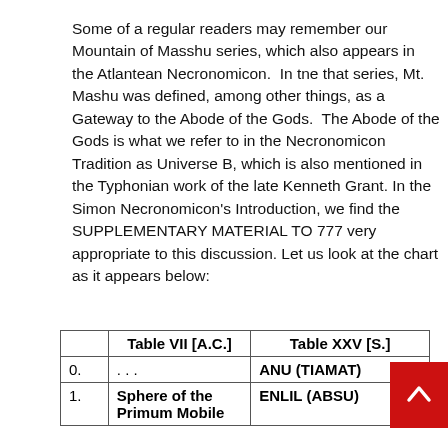Some of a regular readers may remember our Mountain of Masshu series, which also appears in the Atlantean Necronomicon.  In tne that series, Mt. Mashu was defined, among other things, as a Gateway to the Abode of the Gods.  The Abode of the Gods is what we refer to in the Necronomicon Tradition as Universe B, which is also mentioned in the Typhonian work of the late Kenneth Grant. In the Simon Necronomicon's Introduction, we find the SUPPLEMENTARY MATERIAL TO 777 very appropriate to this discussion. Let us look at the chart as it appears below:
|  | Table VII [A.C.] | Table XXV [S.] |
| --- | --- | --- |
| 0. | . . . | ANU (TIAMAT) |
| 1. | Sphere of the Primum Mobile | ENLIL (ABSU) |